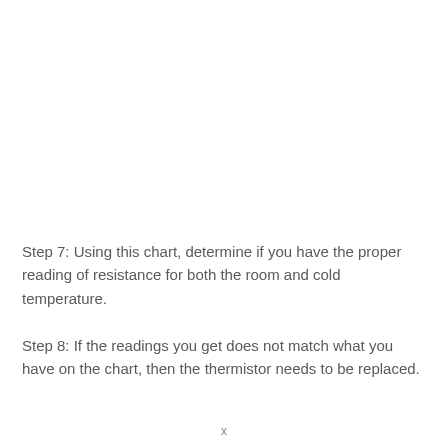Step 7: Using this chart, determine if you have the proper reading of resistance for both the room and cold temperature.
Step 8: If the readings you get does not match what you have on the chart, then the thermistor needs to be replaced.
x